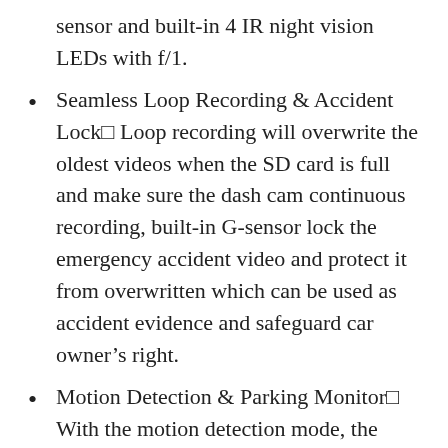sensor and built-in 4 IR night vision LEDs with f/1.
Seamless Loop Recording & Accident Lock■ Loop recording will overwrite the oldest videos when the SD card is full and make sure the dash cam continuous recording, built-in G-sensor lock the emergency accident video and protect it from overwritten which can be used as accident evidence and safeguard car owner’s right.
Motion Detection & Parking Monitor■ With the motion detection mode, the dash cam will be on standby mode until motion is detected, the dash cam will wake up and start recording once the front camera detects objection.